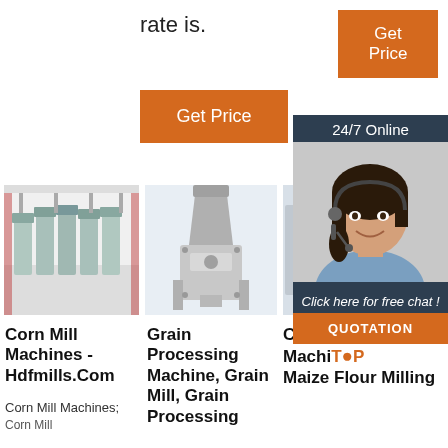rate is.
Get Price
Get Price
24/7 Online
[Figure (photo): Woman with headset smiling, customer service representative]
Click here for free chat !
QUOTATION
[Figure (photo): Corn mill machines in a factory - row of milling equipment]
[Figure (photo): Grain processing machine / oil press machine on white background]
[Figure (photo): Partial view of hammer mill machine]
Corn Mill Machines - Hdfmills.Com
Grain Processing Machine, Grain Mill, Grain Processing
C Hammer Mill Machi… Maize Flour Milling
Corn Mill Machines;
TOP